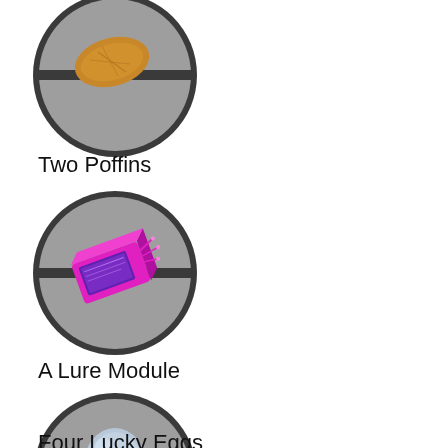[Figure (illustration): Circular Pokeball-style icon containing a golden-brown poffin (baked food item). Gray circle with dark border and horizontal dividing line.]
Two Poffins
[Figure (illustration): Circular Pokeball-style icon containing a pink/magenta lure module device with purple holographic screen. Gray circle with dark border and horizontal dividing line.]
A Lure Module
[Figure (illustration): Circular Pokeball-style icon containing a pale blue speckled egg. Gray circle with dark border and horizontal dividing line.]
Four Lucky Eggs